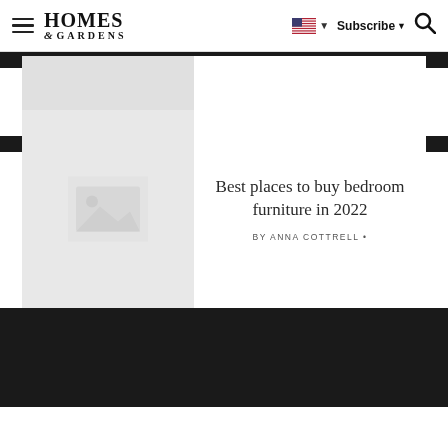Homes & Gardens — Subscribe
[Figure (other): Placeholder image thumbnail for article card (top, partially visible)]
[Figure (other): Placeholder image thumbnail showing a landscape/photo icon in grey]
Best places to buy bedroom furniture in 2022
BY ANNA COTTRELL •